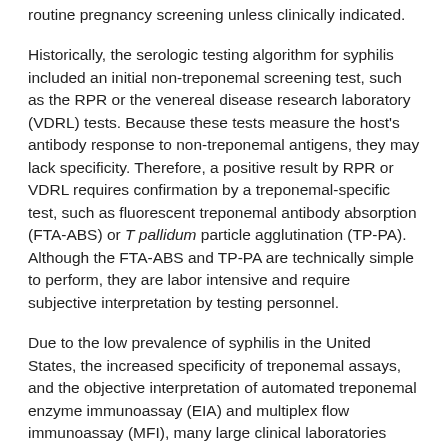routine pregnancy screening unless clinically indicated.
Historically, the serologic testing algorithm for syphilis included an initial non-treponemal screening test, such as the RPR or the venereal disease research laboratory (VDRL) tests. Because these tests measure the host's antibody response to non-treponemal antigens, they may lack specificity. Therefore, a positive result by RPR or VDRL requires confirmation by a treponemal-specific test, such as fluorescent treponemal antibody absorption (FTA-ABS) or T pallidum particle agglutination (TP-PA). Although the FTA-ABS and TP-PA are technically simple to perform, they are labor intensive and require subjective interpretation by testing personnel.
Due to the low prevalence of syphilis in the United States, the increased specificity of treponemal assays, and the objective interpretation of automated treponemal enzyme immunoassay (EIA) and multiplex flow immunoassay (MFI), many large clinical laboratories have switched to screening for syphilis using a reverse algorithm. Per this algorithm, serum samples are first tested by an automated treponemal assay (eg, EIA or MFI).